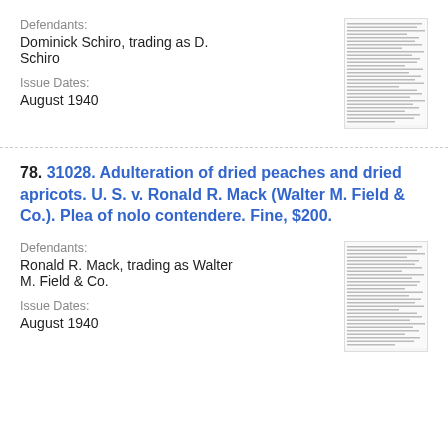Defendants:
Dominick Schiro, trading as D. Schiro
Issue Dates:
August 1940
[Figure (other): Thumbnail image of a legal document page with dense text]
78. 31028. Adulteration of dried peaches and dried apricots. U. S. v. Ronald R. Mack (Walter M. Field & Co.). Plea of nolo contendere. Fine, $200.
Defendants:
Ronald R. Mack, trading as Walter M. Field & Co.
Issue Dates:
August 1940
[Figure (other): Thumbnail image of a legal document page with dense text]